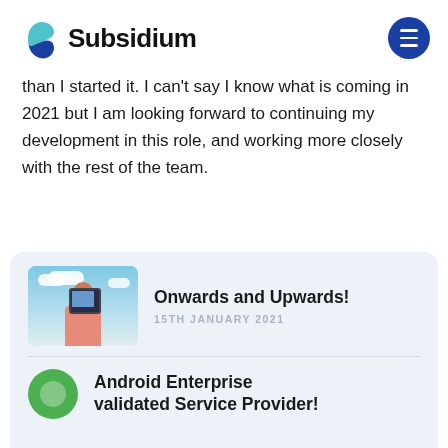Subsidium
than I started it. I can't say I know what is coming in 2021 but I am looking forward to continuing my development in this role, and working more closely with the rest of the team.
[Figure (screenshot): Card section with two article previews. First: 'Onwards and Upwards!' dated 15TH JANUARY 2021 with a thumbnail of a person holding a tablet. Second: 'Android Enterprise validated Service Provider!' partially visible with a green circular icon.]